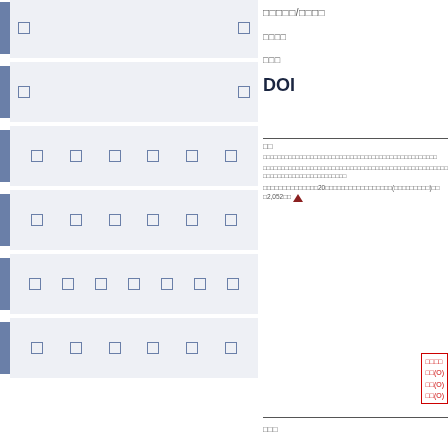[Figure (other): Form/UI rows with checkboxes and tab indicators on the left panel]
□□□□□/□□□□
□□□□
□□□
DOI
□□
□□□□□□□□□□□□□□□□□□□□□□□□□□□□□□□□□□□□□□□□□□□□
□□□□□□□□□□□□□□□□□□□□□□□□□□□□□□□□□□□□□□□□□□□□□□□□□□□□□□□□□□□□□□□
□□□□□□□□□□□□□□20□□□□□□□□□□□□□□□□□(□□□□□□□□□)□□2,052□□ ▲
□□□□
□□(O)
□□(O)
□□(O)
□□□